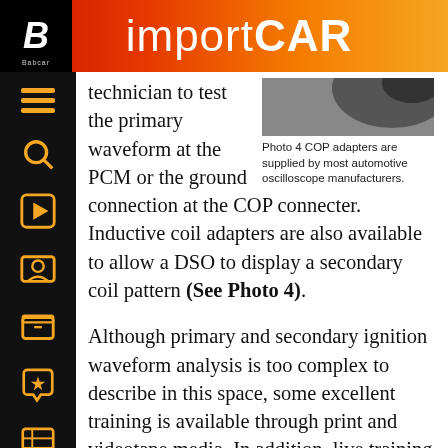importCAR
[Figure (photo): Partial photo of COP adapter at top right of page]
Photo 4 COP adapters are supplied by most automotive oscilloscope manufacturers.
technician to test the primary waveform at the PCM or the ground connection at the COP connecter. Inductive coil adapters are also available to allow a DSO to display a secondary coil pattern (See Photo 4).
Although primary and secondary ignition waveform analysis is too complex to describe in this space, some excellent training is available through print and videotape media. In addition, live training classes are also available in areas that will support the required class sizes. One of the caveats of any scope analysis procedure are the variables encountered in different ignition systems designs and between the displays of the